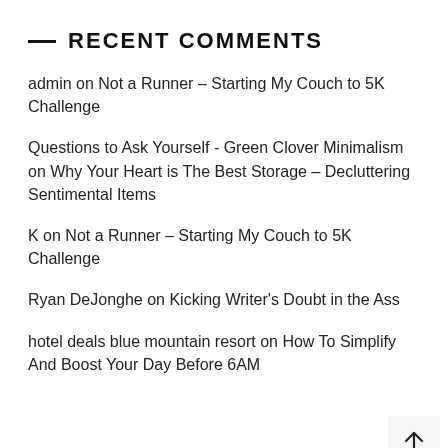— RECENT COMMENTS
admin on Not a Runner – Starting My Couch to 5K Challenge
Questions to Ask Yourself - Green Clover Minimalism on Why Your Heart is The Best Storage – Decluttering Sentimental Items
K on Not a Runner – Starting My Couch to 5K Challenge
Ryan DeJonghe on Kicking Writer's Doubt in the Ass
hotel deals blue mountain resort on How To Simplify And Boost Your Day Before 6AM